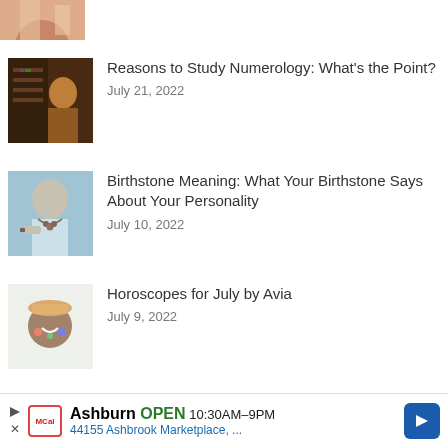[Figure (photo): Partial image at top of page — cropped woman figure in warm tones]
[Figure (photo): Person reading or studying near bookshelves, warm lighting]
Reasons to Study Numerology: What's the Point?
July 21, 2022
[Figure (photo): Woman wearing necklace and bracelets, birthstone jewelry]
Birthstone Meaning: What Your Birthstone Says About Your Personality
July 10, 2022
[Figure (photo): Person with hat and colorful accessories, smiling]
Horoscopes for July by Avia
July 9, 2022
Ashburn OPEN 10:30AM–9PM 44155 Ashbrook Marketplace, ...